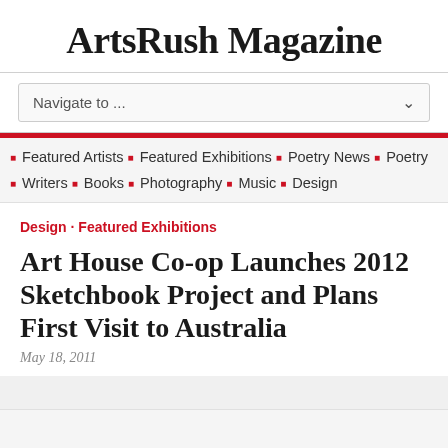ArtsRush Magazine
Navigate to ...
Featured Artists · Featured Exhibitions · Poetry News · Poetry
Writers · Books · Photography · Music · Design
Design · Featured Exhibitions
Art House Co-op Launches 2012 Sketchbook Project and Plans First Visit to Australia
May 18, 2011